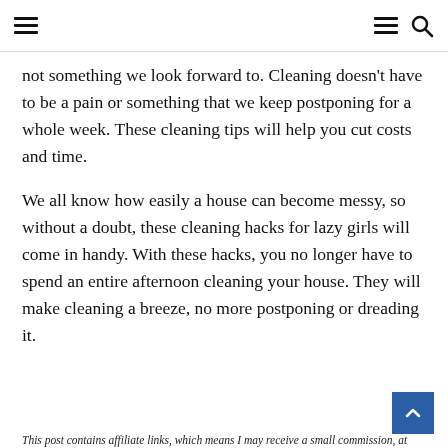≡  ≡ 🔍
not something we look forward to. Cleaning doesn't have to be a pain or something that we keep postponing for a whole week. These cleaning tips will help you cut costs and time.
We all know how easily a house can become messy, so without a doubt, these cleaning hacks for lazy girls will come in handy. With these hacks, you no longer have to spend an entire afternoon cleaning your house. They will make cleaning a breeze, no more postponing or dreading it.
This post contains affiliate links, which means I may receive a small commission, at